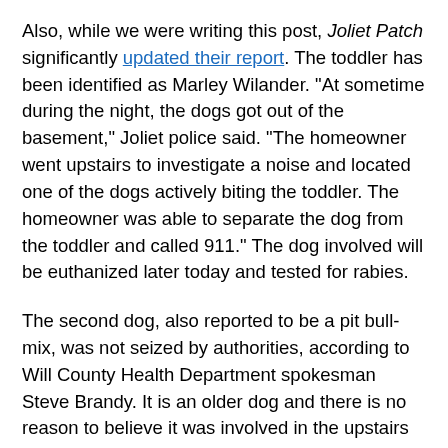Also, while we were writing this post, Joliet Patch significantly updated their report. The toddler has been identified as Marley Wilander. "At sometime during the night, the dogs got out of the basement," Joliet police said. "The homeowner went upstairs to investigate a noise and located one of the dogs actively biting the toddler. The homeowner was able to separate the dog from the toddler and called 911." The dog involved will be euthanized later today and tested for rabies.
The second dog, also reported to be a pit bull-mix, was not seized by authorities, according to Will County Health Department spokesman Steve Brandy. It is an older dog and there is no reason to believe it was involved in the upstairs bedroom attack, Brandy indicated to Joliet Patch. Marley died around 3:30 am Sunday, according to Joliet police. The Will County Coroner's Office stated Monday afternoon that Marley sustained "multiple injuries